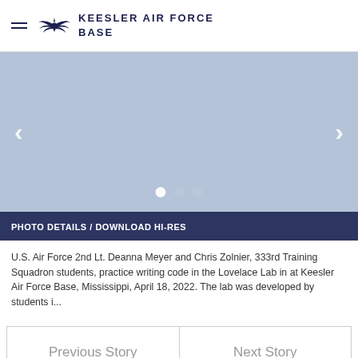KEESLER AIR FORCE BASE
[Figure (photo): Slideshow image area with light blue/grey placeholder, left and right navigation arrows, and three dot indicators at bottom center.]
PHOTO DETAILS / DOWNLOAD HI-RES
U.S. Air Force 2nd Lt. Deanna Meyer and Chris Zolnier, 333rd Training Squadron students, practice writing code in the Lovelace Lab in at Keesler Air Force Base, Mississippi, April 18, 2022. The lab was developed by students i...
Previous Story
Next Story